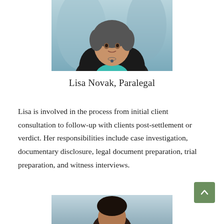[Figure (photo): Professional headshot photo of Lisa Novak, a woman wearing a teal top and black blazer with a necklace, shown from shoulders up against a blurred blue background.]
Lisa Novak, Paralegal
Lisa is involved in the process from initial client consultation to follow-up with clients post-settlement or verdict. Her responsibilities include case investigation, documentary disclosure, legal document preparation, trial preparation, and witness interviews.
[Figure (photo): Professional headshot photo of another person, partially visible at the bottom of the page.]